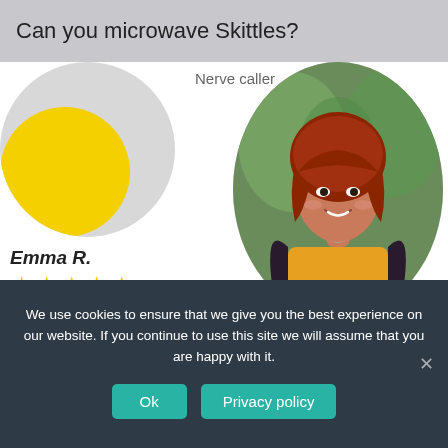Can you microwave Skittles?
[Figure (illustration): Partial circular avatar with yellow arc shape on grey circle background, cropped at top]
Nerve caller
[Figure (photo): Circular cropped photo of a woman with red hair wearing a yellow top and dark floral jacket, standing outdoors]
Emma R.
★★★★★
[Figure (illustration): Yellow ORDER button]
Professional Homework Help
We use cookies to ensure that we give you the best experience on our website. If you continue to use this site we will assume that you are happy with it.
Ok
Privacy policy